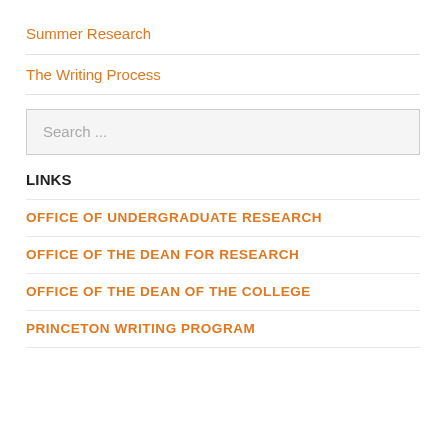Summer Research
The Writing Process
Search ...
LINKS
OFFICE OF UNDERGRADUATE RESEARCH
OFFICE OF THE DEAN FOR RESEARCH
OFFICE OF THE DEAN OF THE COLLEGE
PRINCETON WRITING PROGRAM